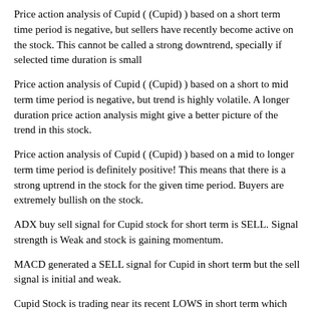Price action analysis of Cupid ( (Cupid) ) based on a short term time period is negative, but sellers have recently become active on the stock. This cannot be called a strong downtrend, specially if selected time duration is small
Price action analysis of Cupid ( (Cupid) ) based on a short to mid term time period is negative, but trend is highly volatile. A longer duration price action analysis might give a better picture of the trend in this stock.
Price action analysis of Cupid ( (Cupid) ) based on a mid to longer term time period is definitely positive! This means that there is a strong uptrend in the stock for the given time period. Buyers are extremely bullish on the stock.
ADX buy sell signal for Cupid stock for short term is SELL. Signal strength is Weak and stock is gaining momentum.
MACD generated a SELL signal for Cupid in short term but the sell signal is initial and weak.
Cupid Stock is trading near its recent LOWS in short term which reflects strong selling momentum. Bears are getting stronger in this stock.
Ichimoku cloud is of green color and prices are in or below the green cloud Prices appear to be coming down